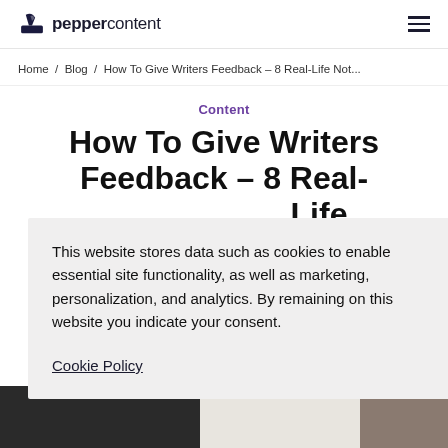peppercontent
Home / Blog / How To Give Writers Feedback – 8 Real-Life Not...
Content
How To Give Writers Feedback – 8 Real-Life Notable Ways To Make It Better
min read
This website stores data such as cookies to enable essential site functionality, as well as marketing, personalization, and analytics. By remaining on this website you indicate your consent.

Cookie Policy
[Figure (photo): Bottom section showing partial images of what appears to be a desk/workspace]